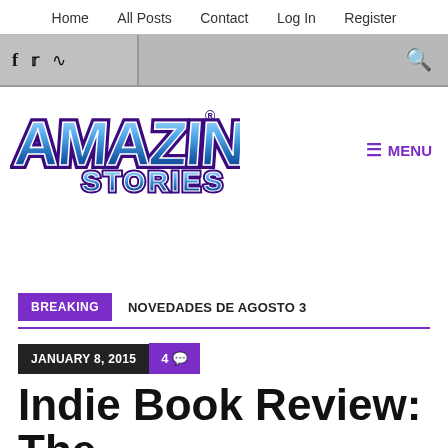Home   All Posts   Contact   Log In   Register
[Figure (logo): Amazing Stories logo — stylized blue gradient text with purple outline]
☰ MENU
BREAKING   NOVEDADES DE AGOSTO 3
JANUARY 8, 2015   4 💬
Indie Book Review: The